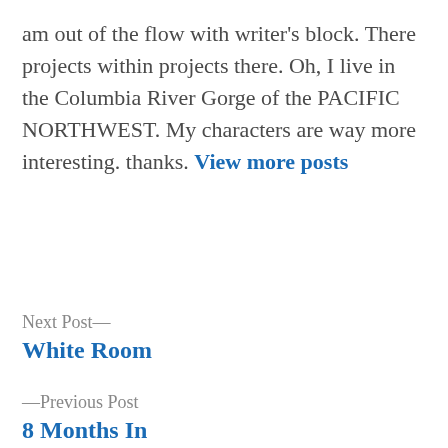am out of the flow with writer's block. There projects within projects there. Oh, I live in the Columbia River Gorge of the PACIFIC NORTHWEST. My characters are way more interesting. thanks. View more posts
Next Post— White Room
—Previous Post 8 Months In